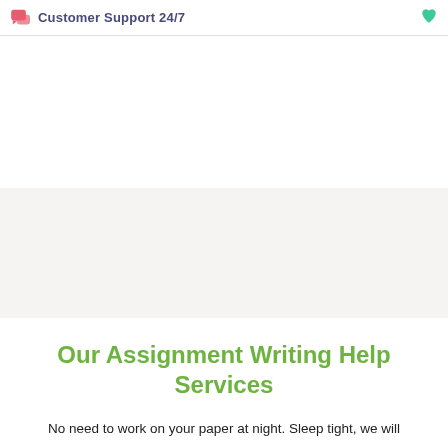Customer Support 24/7
Our Assignment Writing Help Services
No need to work on your paper at night. Sleep tight, we will